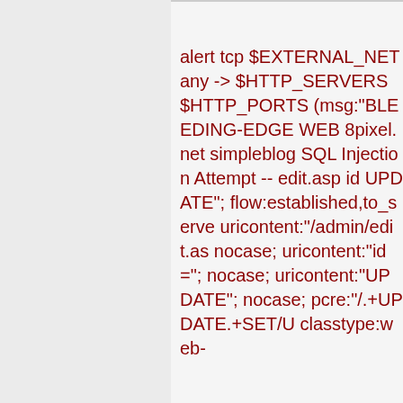alert tcp $EXTERNAL_NET any -> $HTTP_SERVERS $HTTP_PORTS (msg:"BLEEDING-EDGE WEB 8pixel.net simpleblog SQL Injection Attempt -- edit.asp id UPDATE"; flow:established,to_server; uricontent:"/admin/edit.as nocase; uricontent:"id="; nocase; uricontent:"UPDATE"; nocase; pcre:"/.+UPDATE.+SET/U classtype:web-